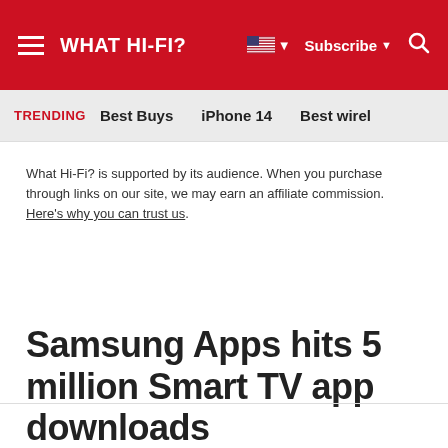WHAT HI-FI? | Subscribe | Search
TRENDING  Best Buys  iPhone 14  Best wirel…
What Hi-Fi? is supported by its audience. When you purchase through links on our site, we may earn an affiliate commission. Here's why you can trust us.
Samsung Apps hits 5 million Smart TV app downloads